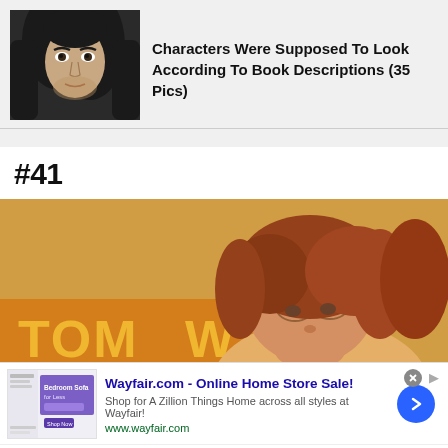[Figure (photo): Thumbnail photo of a man with long dark hair and beard, dark background, intense gaze]
Characters Were Supposed To Look According To Book Descriptions (35 Pics)
#41
[Figure (photo): Photo of a person with auburn/red hair looking over a sign reading 'TOMW...' against a warm yellow-orange background]
Wayfair.com - Online Home Store Sale!
Shop for A Zillion Things Home across all styles at Wayfair!
www.wayfair.com